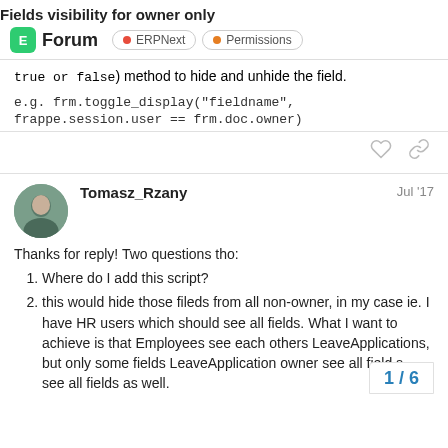Fields visibility for owner only
Forum  ERPNext  Permissions
true or false) method to hide and unhide the field.

e.g. frm.toggle_display("fieldname", frappe.session.user == frm.doc.owner)
Tomasz_Rzany   Jul '17
Thanks for reply! Two questions tho:
Where do I add this script?
this would hide those fileds from all non-owner, in my case ie. I have HR users which should see all fields. What I want to achieve is that Employees see each others LeaveApplications, but only some fields LeaveApplication owner see all fields see all fields as well.